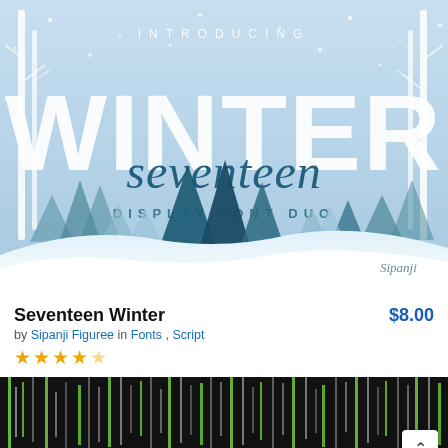[Figure (illustration): Winter-themed font promotional banner with light blue sky, snow-covered hills, pine trees in teal/blue colors, birch trees on sides, snow falling. Text reads INTRODUCING WINTER in large white block letters, 'seventeen' in cursive script overlay, and 'DISPLAY FONT DUO' below. Sipanji signature in bottom right corner.]
Seventeen Winter
by Sipanji Figuree in Fonts , Script
$8.00
[Figure (illustration): Dark/black background with vertical green, white and gray stripes/lines resembling a code or rain pattern. Bottom shows partial text 'INTRODUCING' in light gray letters.]